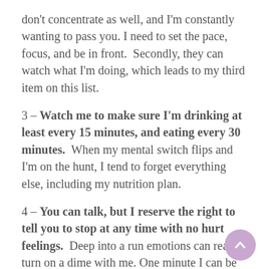don't concentrate as well, and I'm constantly wanting to pass you. I need to set the pace, focus, and be in front.  Secondly, they can watch what I'm doing, which leads to my third item on this list.
3 – Watch me to make sure I'm drinking at least every 15 minutes, and eating every 30 minutes.  When my mental switch flips and I'm on the hunt, I tend to forget everything else, including my nutrition plan.
4 – You can talk, but I reserve the right to tell you to stop at any time with no hurt feelings.  Deep into a run emotions can really turn on a dime with me. One minute I can be